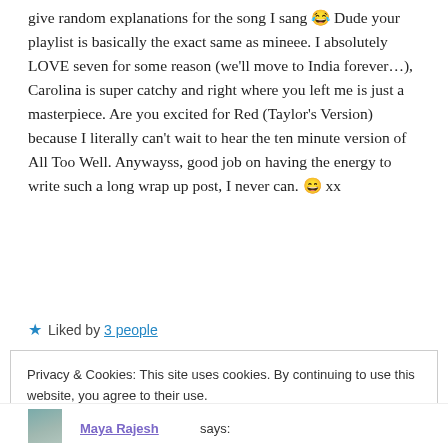give random explanations for the song I sang 😂 Dude your playlist is basically the exact same as mineee. I absolutely LOVE seven for some reason (we'll move to India forever…), Carolina is super catchy and right where you left me is just a masterpiece. Are you excited for Red (Taylor's Version) because I literally can't wait to hear the ten minute version of All Too Well. Anywayss, good job on having the energy to write such a long wrap up post, I never can. 😄 xx
★ Liked by 3 people
Privacy & Cookies: This site uses cookies. By continuing to use this website, you agree to their use. To find out more, including how to control cookies, see here: Cookie Policy
Close and accept
Maya Rajesh says: